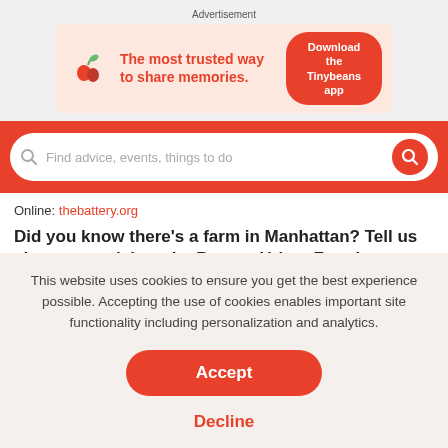Advertisement
[Figure (infographic): Tinybeans app advertisement banner with logo showing a red plant/seedling icon, text 'The most trusted way to share memories.' and a red 'Download the Tinybeans app' button]
Online: thebattery.org
Did you know there’s a farm in Manhattan? Tell us about your visit to the Battery Urban Farm!
–Sarah Choi
This website uses cookies to ensure you get the best experience possible. Accepting the use of cookies enables important site functionality including personalization and analytics.
Accept
Decline